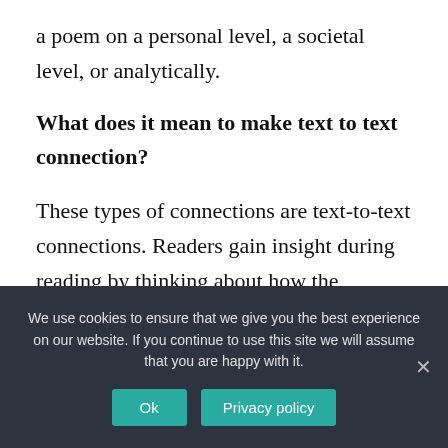a poem on a personal level, a societal level, or analytically.
What does it mean to make text to text connection?
These types of connections are text-to-text connections. Readers gain insight during reading by thinking about how the information they are reading connects to other familiar text. “This
We use cookies to ensure that we give you the best experience on our website. If you continue to use this site we will assume that you are happy with it.